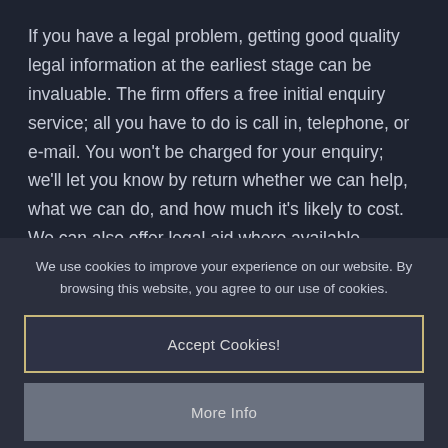If you have a legal problem, getting good quality legal information at the earliest stage can be invaluable. The firm offers a free initial enquiry service; all you have to do is call in, telephone, or e-mail. You won't be charged for your enquiry; we'll let you know by return whether we can help, what we can do, and how much it's likely to cost. We can also offer legal aid where available.
We use cookies to improve your experience on our website. By browsing this website, you agree to our use of cookies.
Accept Cookies!
More Info